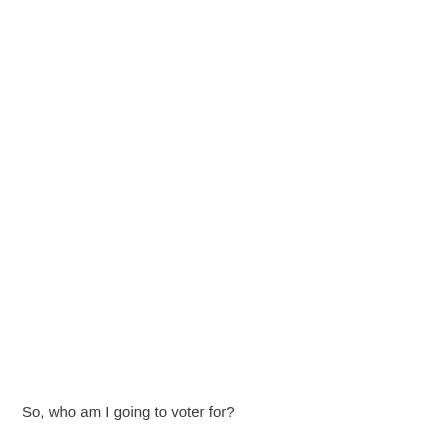So, who am I going to voter for?